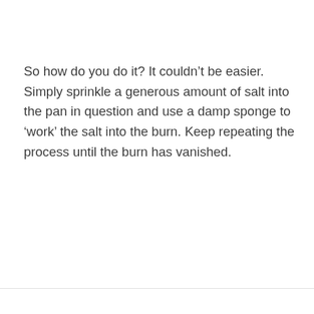So how do you do it? It couldn't be easier. Simply sprinkle a generous amount of salt into the pan in question and use a damp sponge to ‘work’ the salt into the burn. Keep repeating the process until the burn has vanished.